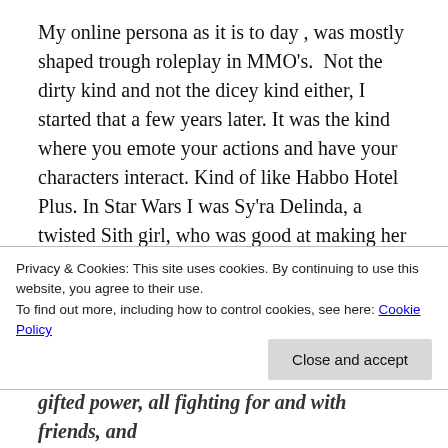My online persona as it is to day , was mostly shaped trough roleplay in MMO's.  Not the dirty kind and not the dicey kind either, I started that a few years later. It was the kind where you emote your actions and have your characters interact. Kind of like Habbo Hotel Plus. In Star Wars I was Sy'ra Delinda, a twisted Sith girl, who was good at making her opponents sick, confused and playing with their emotions.  She was a master manipulator, that had a significant amount of followers, during her run as a character. Sy'ra however was unlike most Sith. She dressed up in all pink, as the colour made her feel
Privacy & Cookies: This site uses cookies. By continuing to use this website, you agree to their use.
To find out more, including how to control cookies, see here: Cookie Policy
Close and accept
gifted power, all fighting for and with friends, and also for her brat if no one was around, but with passion and